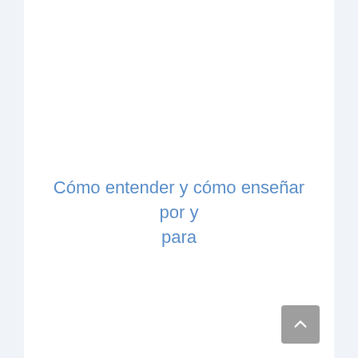Cómo entender y cómo enseñar por y para